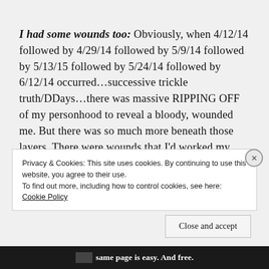I had some wounds too: Obviously, when 4/12/14 followed by 4/29/14 followed by 5/9/14 followed by 5/13/15 followed by 5/24/14 followed by 6/12/14 occurred…successive trickle truth/DDays…there was massive RIPPING OFF of my personhood to reveal a bloody, wounded me. But there was so much more beneath those layers. There were wounds that I'd worked my whole life to bury deep in my soul…
Privacy & Cookies: This site uses cookies. By continuing to use this website, you agree to their use.
To find out more, including how to control cookies, see here: Cookie Policy
Close and accept
same page is easy. And free.